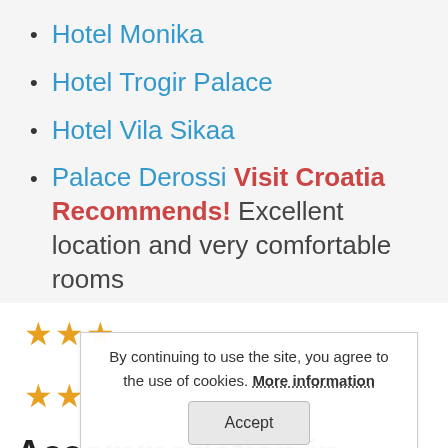Hotel Monika
Hotel Trogir Palace
Hotel Vila Sikaa
Palace Derossi Visit Croatia Recommends! Excellent location and very comfortable rooms
[Figure (other): Three gold star rating symbols]
[Figure (other): Two gold star rating symbols]
By continuing to use the site, you agree to the use of cookies. More information
Accept
Accommodation in Trogir – Boutique Hotels